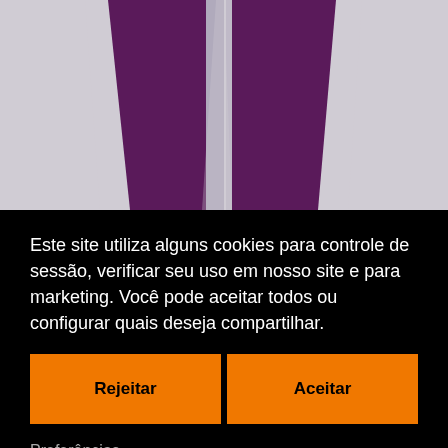[Figure (photo): Bottom half of a person wearing purple/plum athletic leggings with grey side stripes, shown from waist to feet against a light grey background.]
[Figure (photo): Lower face and shoulders of a woman with dark hair and light skin, partially visible behind the cookie consent overlay.]
Este site utiliza alguns cookies para controle de sessão, verificar seu uso em nosso site e para marketing. Você pode aceitar todos ou configurar quais deseja compartilhar.
Rejeitar
Aceitar
Preferências